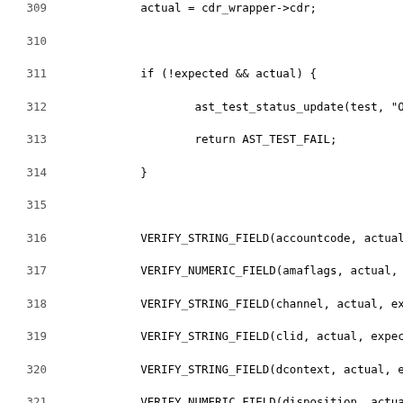[Figure (other): Source code listing showing lines 309-341 of a C program. The code includes variable assignment, conditional checks, VERIFY_STRING_FIELD and VERIFY_NUMERIC_FIELD macro calls for various CDR fields, VERIFY_TIME_VALUE calls, a comment about billsec, and a conditional block checking expected->billsec.]